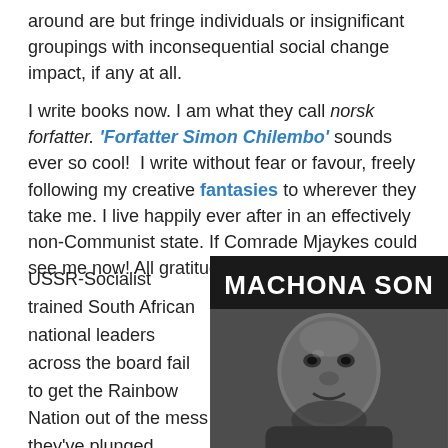around are but fringe individuals or insignificant groupings with inconsequential social change impact, if any at all.
I write books now. I am what they call norsk forfatter. 'Forfatter Simon Chilembo' sounds ever so cool! I write without fear or favour, freely following my creative fantasies to wherever they take me. I live happily ever after in an effectively non-Communist state. If Comrade Mjaykes could see me now! All gratitude due.
USSR-Socialist trained South African national leaders across the board fail to get the Rainbow Nation out of the mess they've plunged
[Figure (photo): Book cover showing 'MACHONA SON' title in white text on dark background with a black-and-white portrait photo of a man]